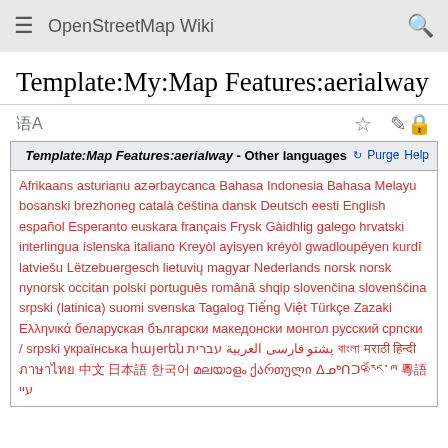OpenStreetMap Wiki
Template:My:Map Features:aerialway
| Template:Map Features:aerialway - Other languages | Purge | Help |
| --- | --- |
| Afrikaans asturianu azərbaycanca Bahasa Indonesia Bahasa Melayu bosanski brezhoneg català čeština dansk Deutsch eesti English español Esperanto euskara français Frysk Gàidhlig galego hrvatski interlingua íslenska italiano Kreyòl ayisyen kréyòl gwadloupéyen kurdî latviešu Lëtzebuergesch lietuvių magyar Nederlands norsk norsk nynorsk occitan polski português română shqip slovenčina slovenščina srpski (latinica) suomi svenska Tagalog Tiếng Việt Türkçe Zazaki Ελληνικά беларуская български македонски монгол русский српски / srpski українська հայerեն پشتو فارسی العربية עברית বাংলা मराठी हिन्दी ภาษาไทย 中文 日本語 한국어 മലയാളം ქართული ᐃᓄᒃᑎᑐᑦ རྫོང་ཁ 粵語 עיי |